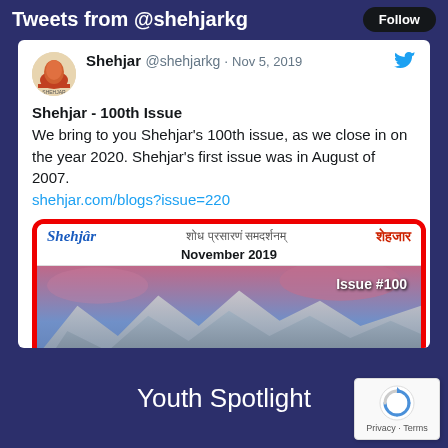Tweets from @shehjarkg
Shehjar @shehjarkg · Nov 5, 2019
Shehjar - 100th Issue
We bring to you Shehjar's 100th issue, as we close in on the year 2020. Shehjar's first issue was in August of 2007.
shehjar.com/blogs?issue=220
[Figure (screenshot): Magazine cover for Shehjar November 2019 100th Issue, showing mountain landscape with '100th Issue' text in yellow, bordered in red]
Youth Spotlight